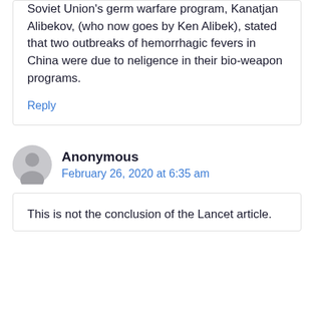Soviet Union's germ warfare program, Kanatjan Alibekov, (who now goes by Ken Alibek), stated that two outbreaks of hemorrhagic fevers in China were due to neligence in their bio-weapon programs.
Reply
Anonymous
February 26, 2020 at 6:35 am
This is not the conclusion of the Lancet article.